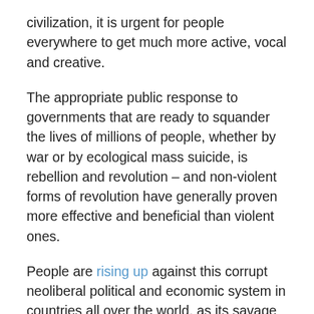civilization, it is urgent for people everywhere to get much more active, vocal and creative.
The appropriate public response to governments that are ready to squander the lives of millions of people, whether by war or by ecological mass suicide, is rebellion and revolution – and non-violent forms of revolution have generally proven more effective and beneficial than violent ones.
People are rising up against this corrupt neoliberal political and economic system in countries all over the world, as its savage impacts affect their lives in different ways. But the climate crisis is a universal danger to all of humanity that requires a universal, global